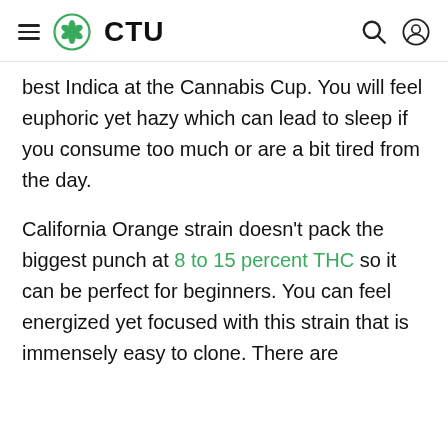CTU
best Indica at the Cannabis Cup. You will feel euphoric yet hazy which can lead to sleep if you consume too much or are a bit tired from the day.
California Orange strain doesn’t pack the biggest punch at 8 to 15 percent THC so it can be perfect for beginners. You can feel energized yet focused with this strain that is immensely easy to clone. There are